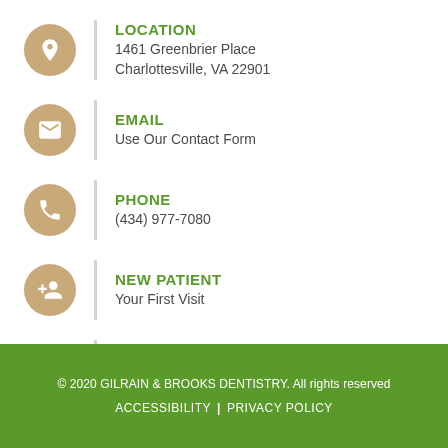LOCATION
1461 Greenbrier Place
Charlottesville, VA 22901
EMAIL
Use Our Contact Form
PHONE
(434) 977-7080
NEW PATIENT
Your First Visit
WORKING HOURS
Monday – Thursday : 8am – 5pm
Friday : 8am – 4pm
© 2020 GILRAIN & BROOKS DENTISTRY. All rights reserved
ACCESSIBILITY | PRIVACY POLICY